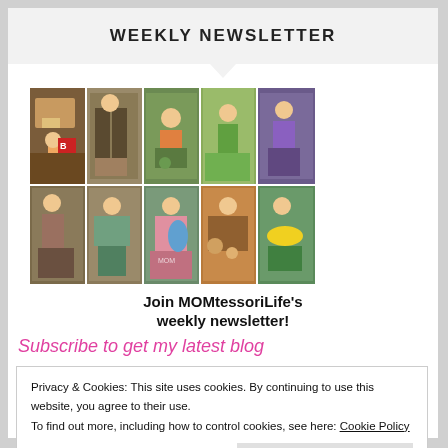WEEKLY NEWSLETTER
[Figure (photo): Collage of 10 photos showing children doing Montessori activities arranged in a 5x2 grid]
Join MOMtessoriLife's weekly newsletter!
Subscribe to get my latest blog
Privacy & Cookies: This site uses cookies. By continuing to use this website, you agree to their use.
To find out more, including how to control cookies, see here: Cookie Policy
Close and accept